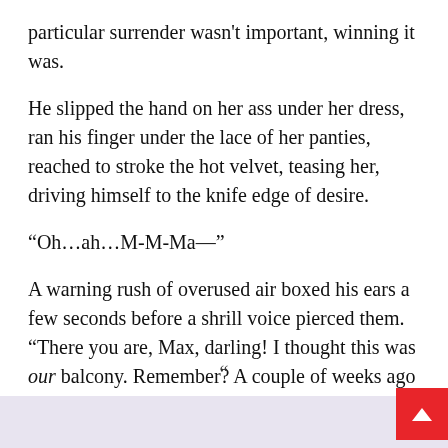particular surrender wasn't important, winning it was.
He slipped the hand on her ass under her dress, ran his finger under the lace of her panties, reached to stroke the hot velvet, teasing her, driving himself to the knife edge of desire.
“Oh…ah…M-M-Ma—”
A warning rush of overused air boxed his ears a few seconds before a shrill voice pierced them. “There you are, Max, darling! I thought this was our balcony. Remember? A couple of weeks ago we…”
Bam. Just like that, Prue froze in his arms. He opened his eyes and saw the shutters slam over hers, dousing the lighthouse, leaving him at sea in empty darkn